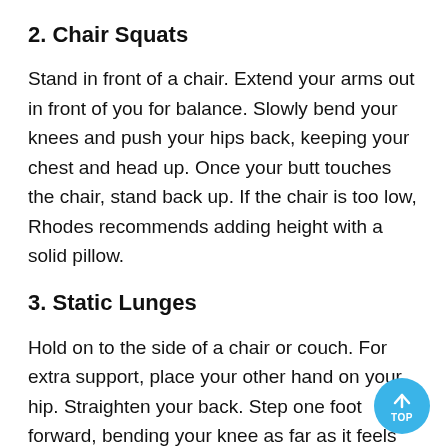2. Chair Squats
Stand in front of a chair. Extend your arms out in front of you for balance. Slowly bend your knees and push your hips back, keeping your chest and head up. Once your butt touches the chair, stand back up. If the chair is too low, Rhodes recommends adding height with a solid pillow.
3. Static Lunges
Hold on to the side of a chair or couch. For extra support, place your other hand on your hip. Straighten your back. Step one foot forward, bending your knee as far as it feels comfortable